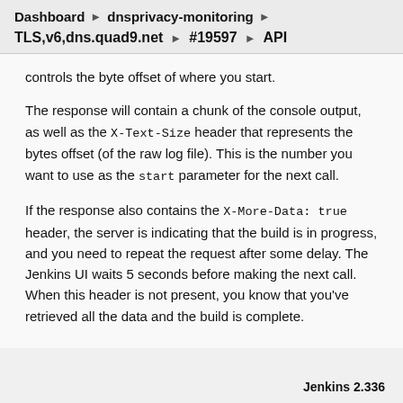Dashboard ▶ dnsprivacy-monitoring ▶
TLS,v6,dns.quad9.net ▶ #19597 ▶ API
controls the byte offset of where you start.
The response will contain a chunk of the console output, as well as the X-Text-Size header that represents the bytes offset (of the raw log file). This is the number you want to use as the start parameter for the next call.
If the response also contains the X-More-Data: true header, the server is indicating that the build is in progress, and you need to repeat the request after some delay. The Jenkins UI waits 5 seconds before making the next call. When this header is not present, you know that you've retrieved all the data and the build is complete.
Jenkins 2.336